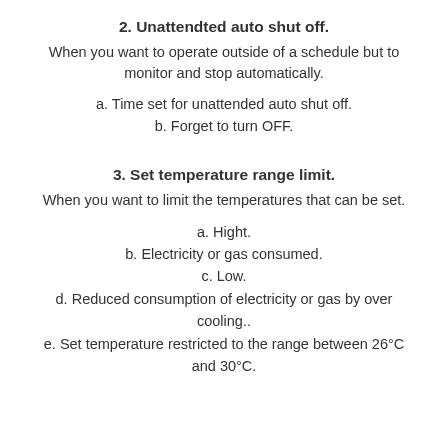2. Unattendted auto shut off.
When you want to operate outside of a schedule but to monitor and stop automatically.
a. Time set for unattended auto shut off.
b. Forget to turn OFF.
3. Set temperature range limit.
When you want to limit the temperatures that can be set.
a. Hight.
b. Electricity or gas consumed.
c. Low.
d. Reduced consumption of electricity or gas by over cooling..
e. Set temperature restricted to the range between 26°C and 30°C.